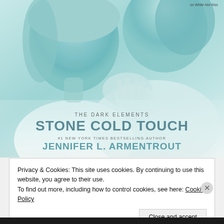[Figure (illustration): Book cover for 'Stone Cold Touch' by Jennifer L. Armentrout. Shows two figures — a blonde woman and a male figure — rendered in teal/cyan tones, nearly touching. Text overlay reads: The Dark Elements / STONE COLD TOUCH / #1 NEW YORK TIMES BESTSELLING AUTHOR / JENNIFER L. ARMENTROUT. Small text top right reads 'on White Hot Kiss'.]
Privacy & Cookies: This site uses cookies. By continuing to use this website, you agree to their use.
To find out more, including how to control cookies, see here: Cookie Policy
Close and accept